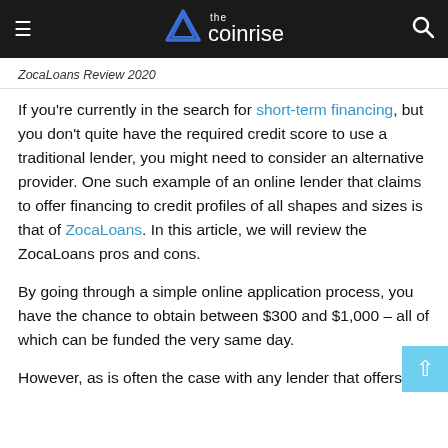the coinrise [logo/nav bar]
ZocaLoans Review 2020
If you're currently in the search for short-term financing, but you don't quite have the required credit score to use a traditional lender, you might need to consider an alternative provider. One such example of an online lender that claims to offer financing to credit profiles of all shapes and sizes is that of ZocaLoans. In this article, we will review the ZocaLoans pros and cons.
By going through a simple online application process, you have the chance to obtain between $300 and $1,000 – all of which can be funded the very same day.
However, as is often the case with any lender that offers its